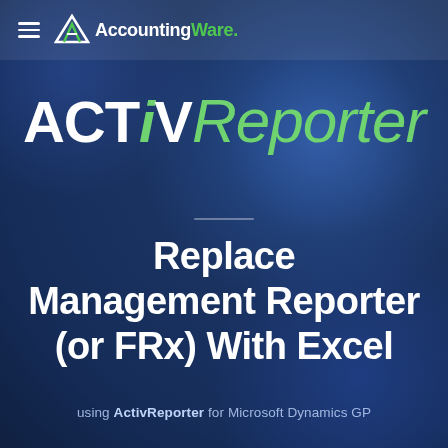AccountingWare.
ACTiV Reporter
Replace Management Reporter (or FRx) With Excel
using ActivReporter for Microsoft Dynamics GP